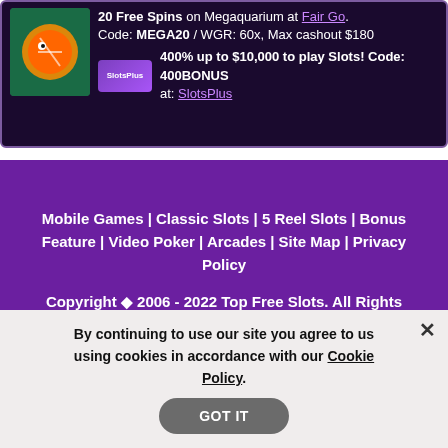20 Free Spins on Megaquarium at Fair Go. Code: MEGA20 / WGR: 60x, Max cashout $180
400% up to $10,000 to play Slots! Code: 400BONUS at: SlotsPlus
Mobile Games | Classic Slots | 5 Reel Slots | Bonus Feature | Video Poker | Arcades | Site Map | Privacy Policy
Copyright ◆ 2006 - 2022 Top Free Slots. All Rights Reserved.
DISCLAIMER: Online Wagering is illegal in some Jurisdictions. It is your
By continuing to use our site you agree to us using cookies in accordance with our Cookie Policy.
GOT IT